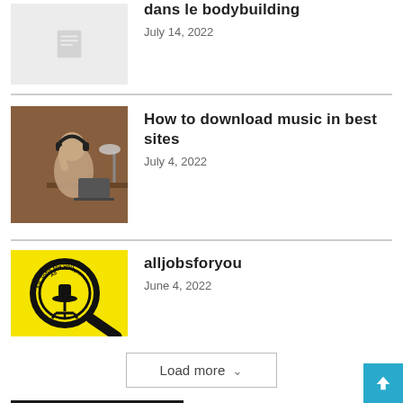[Figure (photo): Placeholder thumbnail with document icon]
dans le bodybuilding
July 14, 2022
[Figure (photo): Person listening to music with headphones at a desk]
How to download music in best sites
July 4, 2022
[Figure (logo): All Jobs For You logo - yellow background with magnifying glass and office chair]
alljobsforyou
June 4, 2022
Load more
RECENT COMMENTS
BriggsKyrie on anxiety disorder